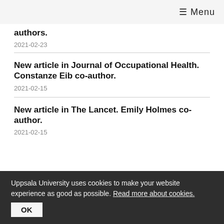≡ Menu
authors.
2021-02-23
New article in Journal of Occupational Health. Constanze Eib co-author.
2021-02-15
New article in The Lancet. Emily Holmes co-author.
2021-02-15
Uppsala University uses cookies to make your website experience as good as possible. Read more about cookies.